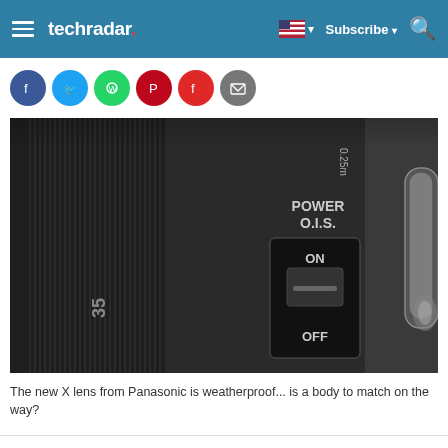techradar
[Figure (photo): Close-up photograph of a Panasonic X lens barrel showing the POWER O.I.S. switch in the ON/OFF position, with ribbed focus ring marked '35' and '0.25m' depth markings.]
The new X lens from Panasonic is weatherproof... is a body to match on the way?